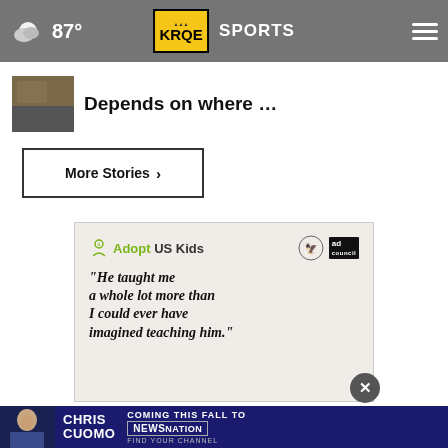87° KRQE SPORTS
Depends on where …
More Stories ›
[Figure (screenshot): AdoptUSKids advertisement with quote: "He taught me a whole lot more than I could ever have imagined teaching him."]
[Figure (screenshot): Chris Cuomo Coming This Fall to NewsNation advertisement banner]